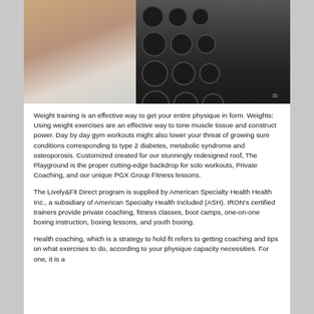[Figure (photo): A man in a gym holding a dumbbell, standing in front of a rack of dumbbells with weights visible including a '30' label.]
Weight training is an effective way to get your entire physique in form. Weights: Using weight exercises are an effective way to tone muscle tissue and construct power. Day by day gym workouts might also lower your threat of growing sure conditions corresponding to type 2 diabetes, metabolic syndrome and osteoporosis. Customized created for our stunningly redesigned roof, The Playground is the proper cutting-edge backdrop for solo workouts, Private Coaching, and our unique PGX Group Fitness lessons.
The Lively&Fit Direct program is supplied by American Specialty Health Health Inc., a subsidiary of American Specialty Health Included (ASH). IRON's certified trainers provide private coaching, fitness classes, boot camps, one-on-one boxing instruction, boxing lessons, and youth boxing.
Health coaching, which is a strategy to hold fit refers to getting coaching and tips on what exercises to do, according to your physique capacity necessities. For one, it is a